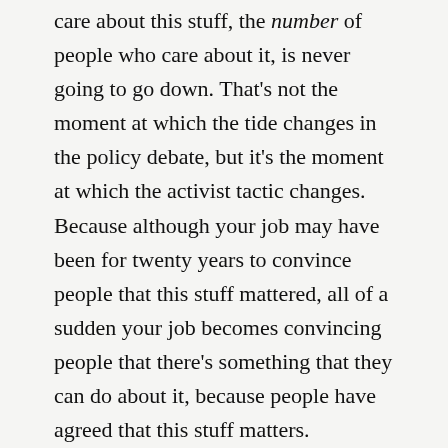care about this stuff, the number of people who care about it, is never going to go down. That’s not the moment at which the tide changes in the policy debate, but it’s the moment at which the activist tactic changes. Because although your job may have been for twenty years to convince people that this stuff mattered, all of a sudden your job becomes convincing people that there’s something that they can do about it, because people have agreed that this stuff matters.
So, when enough of us have watched a loved one die of lung cancer, when climate refugees can no longer be ignored because they’re literally washing up on your shore, when data breaches destroy the lives of millions of people every week. For example, the Office of Personnel Management leaked over twenty million...